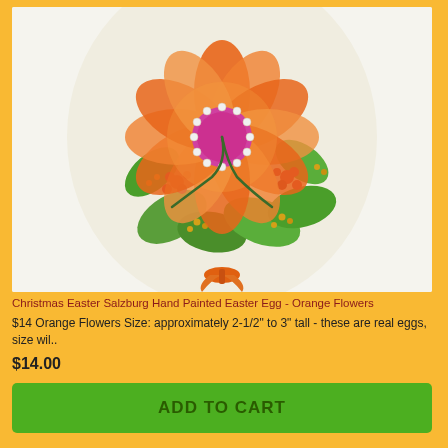[Figure (photo): A hand-painted Easter egg decorated with an orange flower with a pink/magenta center surrounded by pearl beads, green leaves, small red flowers, and gold bead accents. The egg is cream/white colored and has an orange satin ribbon at the bottom.]
Christmas Easter Salzburg Hand Painted Easter Egg - Orange Flowers
$14 Orange Flowers Size: approximately 2-1/2" to 3" tall - these are real eggs, size wil..
$14.00
ADD TO CART